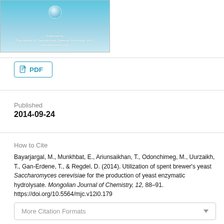[Figure (illustration): Journal cover image showing a teal/blue gradient background with white italic text: 'Published by The Institute of Chemistry and Chemical Technology, MAS, www.elesciencia.com']
PDF
Published
2014-09-24
How to Cite
Bayarjargal, M., Munkhbat, E., Ariunsaikhan, T., Odonchimeg, M., Uurzaikh, T., Gan-Erdene, T., & Regdel, D. (2014). Utilization of spent brewer's yeast Saccharomyces cerevisiae for the production of yeast enzymatic hydrolysate. Mongolian Journal of Chemistry, 12, 88–91. https://doi.org/10.5564/mjc.v12i0.179
More Citation Formats